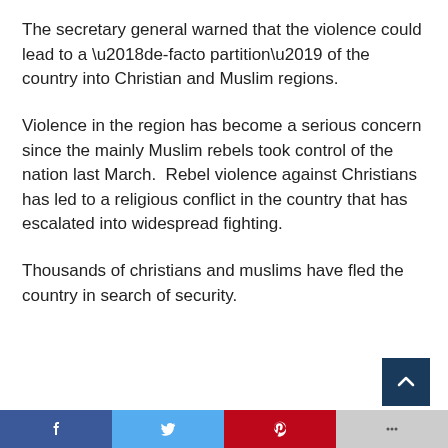The secretary general warned that the violence could lead to a ‘de-facto partition’ of the country into Christian and Muslim regions.
Violence in the region has become a serious concern since the mainly Muslim rebels took control of the nation last March. Rebel violence against Christians has led to a religious conflict in the country that has escalated into widespread fighting.
Thousands of christians and muslims have fled the country in search of security.